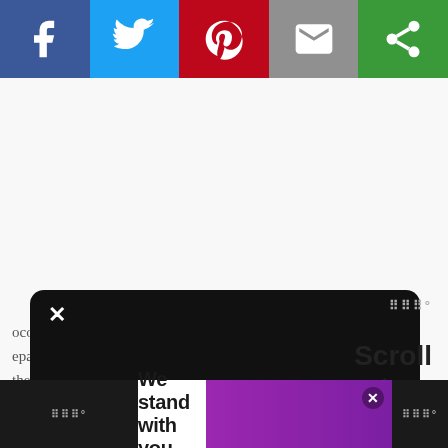[Figure (screenshot): Social media share bar with Facebook (blue), Twitter (light blue), Pinterest (red), Email (grey), and another share option (green) buttons, each with white icons]
[Figure (screenshot): Loading/ad placeholder area with three small grey squares in center of white content area]
[Figure (screenshot): Black rounded rectangle ad overlay with X close button, speaker/ad icons at bottom left, and Moat watermark top right]
coconut oil, I mix the dry eparate little bowl. I melt the mug, then add the other liquid ingredients, and then mix in
Scroll to top
[Figure (screenshot): Bottom banner ad: black left section, white center with 'We stand with you.' text in bold, purple/magenta right section with X close button, black right section with Moat icon]